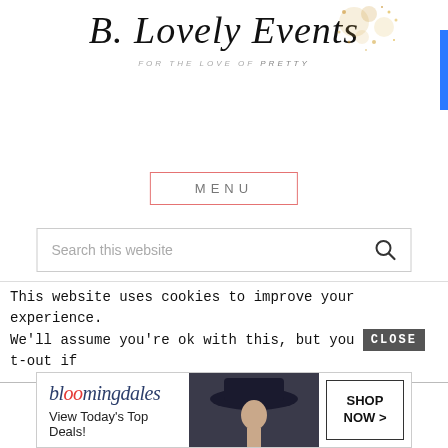[Figure (logo): B. Lovely Events logo with script typography and gold sparkle decoration. Subtitle reads 'FOR THE LOVE OF Pretty']
MENU
[Figure (screenshot): Search box with placeholder text 'Search this website' and a magnifying glass icon]
[Figure (photo): Bloomingdales advertisement banner showing 'View Today's Top Deals!' with woman in hat and 'SHOP NOW >' button]
I also adore how on every fence post there are
This website uses cookies to improve your experience.
We'll assume you're ok with this, but you [CLOSE] t-out if
[Figure (photo): Bloomingdales advertisement banner showing 'View Today's Top Deals!' with woman in hat and 'SHOP NOW >' button]